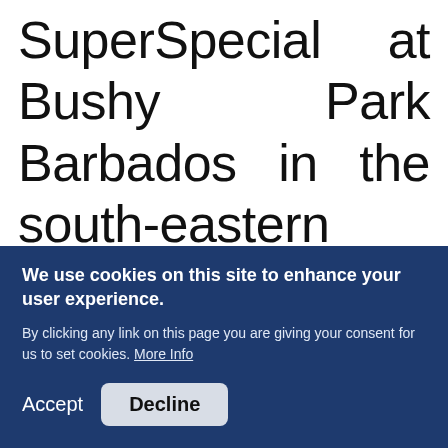SuperSpecial at Bushy Park Barbados in the south-eastern parish of St Philip and again at Saturday's LIME/Banks/Automotive Art Party Stage at the
We use cookies on this site to enhance your user experience.
By clicking any link on this page you are giving your consent for us to set cookies. More Info
Accept  Decline